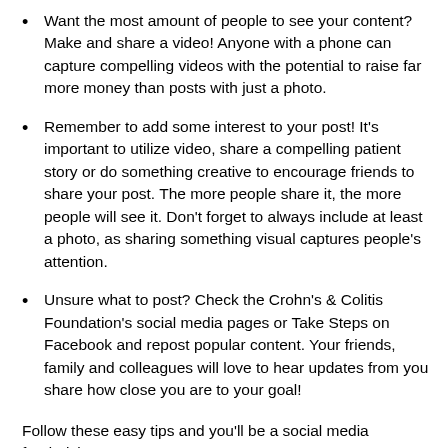Want the most amount of people to see your content? Make and share a video! Anyone with a phone can capture compelling videos with the potential to raise far more money than posts with just a photo.
Remember to add some interest to your post! It's important to utilize video, share a compelling patient story or do something creative to encourage friends to share your post. The more people share it, the more people will see it. Don't forget to always include at least a photo, as sharing something visual captures people's attention.
Unsure what to post? Check the Crohn's & Colitis Foundation's social media pages or Take Steps on Facebook and repost popular content. Your friends, family and colleagues will love to hear updates from you share how close you are to your goal!
Follow these easy tips and you'll be a social media fundraising